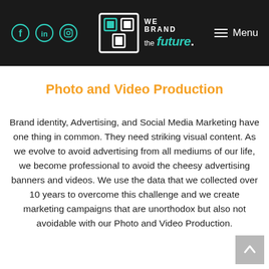We Brand the future. [Logo with social icons: Facebook, LinkedIn, Instagram] Menu
Photo and Video Production
Brand identity, Advertising, and Social Media Marketing have one thing in common. They need striking visual content. As we evolve to avoid advertising from all mediums of our life, we become professional to avoid the cheesy advertising banners and videos. We use the data that we collected over 10 years to overcome this challenge and we create marketing campaigns that are unorthodox but also not avoidable with our Photo and Video Production.